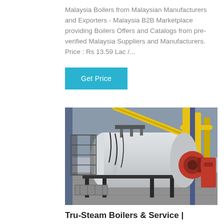Malaysia Boilers from Malaysian Manufacturers and Exporters - Malaysia B2B Marketplace providing Boilers Offers and Catalogs from pre-verified Malaysia Suppliers and Manufacturers. Price : Rs 13.59 Lac /...
Get Price
[Figure (photo): Industrial steam boiler in a factory setting. A large white horizontal cylindrical boiler with a red burner on the front right, supported by a black metal frame. Yellow pipes visible on the right side. The facility has a concrete floor and blue-painted walls.]
Tru-Steam Boilers & Service |